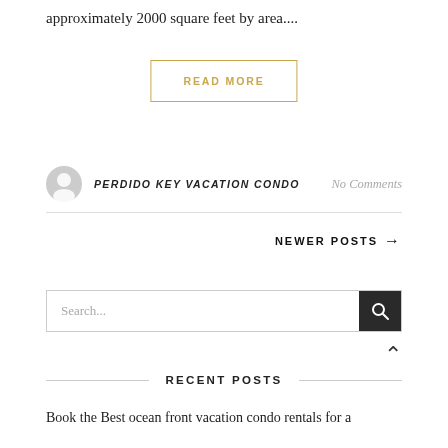approximately 2000 square feet by area....
READ MORE
PERDIDO KEY VACATION CONDO   No Comments
NEWER POSTS →
Search...
RECENT POSTS
Book the Best ocean front vacation condo rentals for a